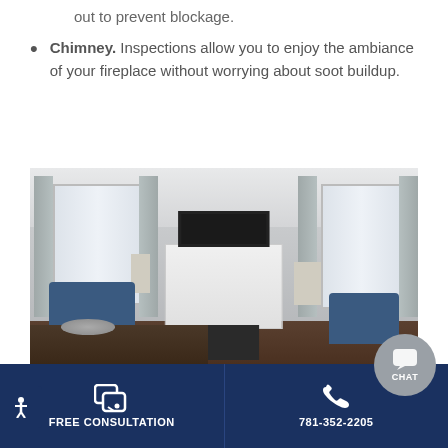out to prevent blockage.
Chimney. Inspections allow you to enjoy the ambiance of your fireplace without worrying about soot buildup.
[Figure (photo): Interior living room with a white fireplace surround, TV mounted above, two blue armchairs, windows with curtains on either side, and decorative items on a coffee table in the foreground.]
FREE CONSULTATION | 781-352-2205 | CHAT